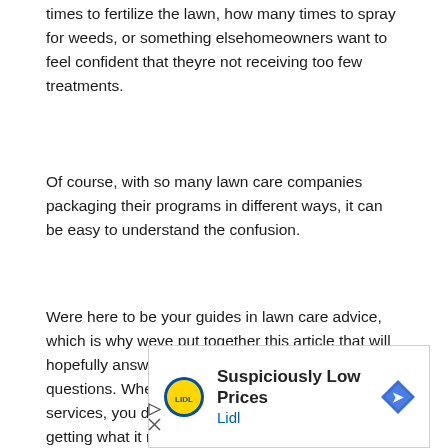times to fertilize the lawn, how many times to spray for weeds, or something elsehomeowners want to feel confident that theyre not receiving too few treatments.
Of course, with so many lawn care companies packaging their programs in different ways, it can be easy to understand the confusion.
Were here to be your guides in lawn care advice, which is why weve put together this article that will hopefully answer some of your common lawn care questions. When you are investing in professional services, you deserve to know that your lawn is getting what it needs.
[Figure (other): Lidl advertisement banner with logo, text 'Suspiciously Low Prices' and 'Lidl', arrow icon, play and close control icons]